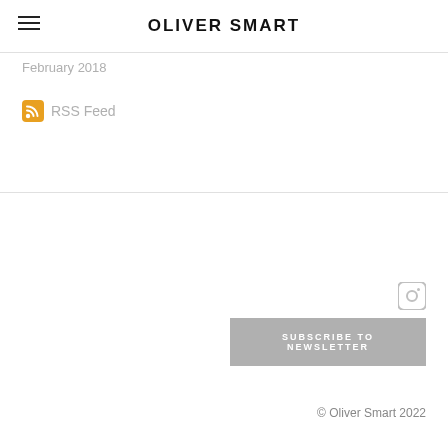OLIVER SMART
February 2018
RSS Feed
SUBSCRIBE TO NEWSLETTER
© Oliver Smart 2022